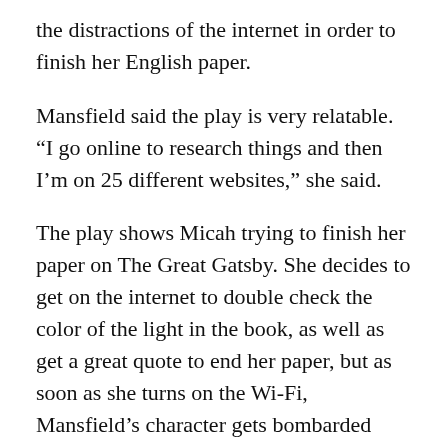the distractions of the internet in order to finish her English paper.
Mansfield said the play is very relatable. “I go online to research things and then I’m on 25 different websites,” she said.
The play shows Micah trying to finish her paper on The Great Gatsby. She decides to get on the internet to double check the color of the light in the book, as well as get a great quote to end her paper, but as soon as she turns on the Wi-Fi, Mansfield’s character gets bombarded with FaceTime requests, pop-up ads and click-bait articles that distract her. The majority of the cast plays multiple characters, including the personification of popular websites.
Lainey Heick plays Amazon, Peyton Lintner is Face-book and Nora Kilburn is Wikipedia. Fulgencio Martinez, who